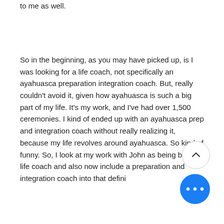to me as well.
So in the beginning, as you may have picked up, is I was looking for a life coach, not specifically an ayahuasca preparation integration coach. But, really couldn't avoid it, given how ayahuasca is such a big part of my life. It's my work, and I've had over 1,500 ceremonies. I kind of ended up with an ayahuasca prep and integration coach without really realizing it, because my life revolves around ayahuasca. So kind of funny. So, I look at my work with John as being both a life coach and also now include a preparation and integration coach into that definition because that's the...
[Figure (other): Circular scroll-up button with upward-pointing chevron/caret, white background with grey border]
[Figure (other): Circular blue button with three horizontal dots (more options)]